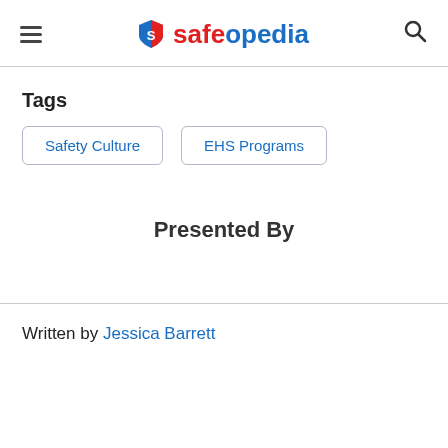safeopedia
Tags
Safety Culture
EHS Programs
Presented By
Written by Jessica Barrett